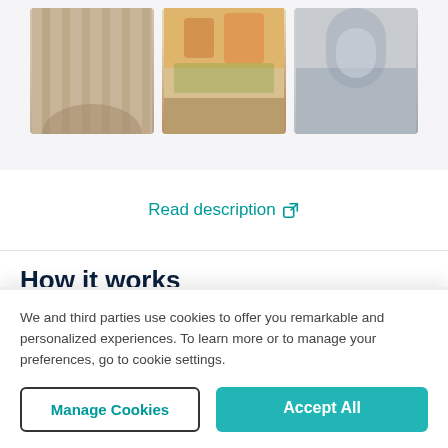[Figure (photo): Three museum/gallery photos in a row: interior corridor, colorful artwork/ceiling, architectural detail]
Read description ↗
How it works
[Figure (illustration): Calendar icon with teal highlighted dates and a numbered badge showing 1]
Select your visit dates
Choose when you want to visit and how many tickets you need
We and third parties use cookies to offer you remarkable and personalized experiences. To learn more or to manage your preferences, go to cookie settings.
Manage Cookies
Accept All